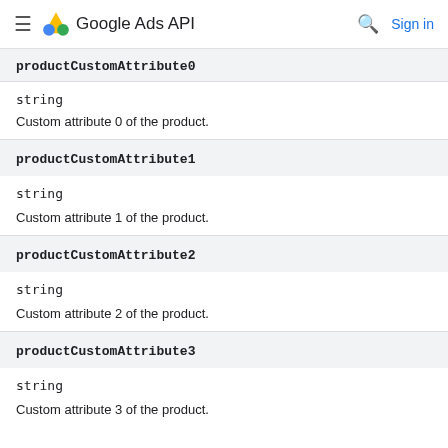Google Ads API
productCustomAttribute0
string
Custom attribute 0 of the product.
productCustomAttribute1
string
Custom attribute 1 of the product.
productCustomAttribute2
string
Custom attribute 2 of the product.
productCustomAttribute3
string
Custom attribute 3 of the product.